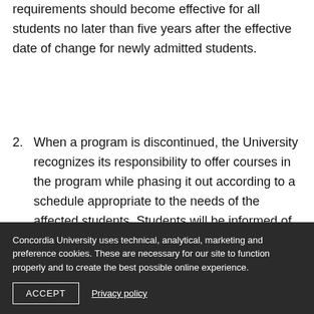requirements should become effective for all students no later than five years after the effective date of change for newly admitted students.
2. When a program is discontinued, the University recognizes its responsibility to offer courses in the program while phasing it out according to a schedule appropriate to the needs of the affected students. Students will be informed of the schedule when the decision is made to phase
Concordia University uses technical, analytical, marketing and preference cookies. These are necessary for our site to function properly and to create the best possible online experience.
ACCEPT    Privacy policy